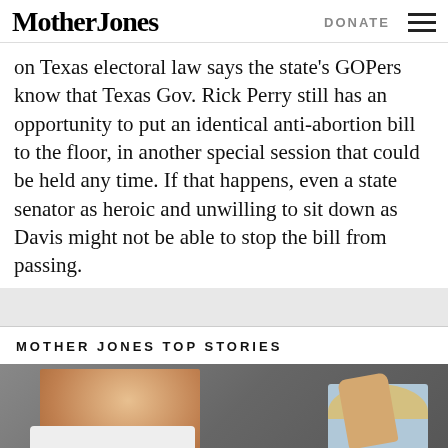Mother Jones | DONATE
on Texas electoral law says the state's GOPers know that Texas Gov. Rick Perry still has an opportunity to put an identical anti-abortion bill to the floor, in another special session that could be held any time. If that happens, even a state senator as heroic and unwilling to sit down as Davis might not be able to stop the bill from passing.
MOTHER JONES TOP STORIES
[Figure (photo): A man wearing a red MAGA cap and white shirt, waving, accompanied by a blonde woman. Crowd scene outdoors.]